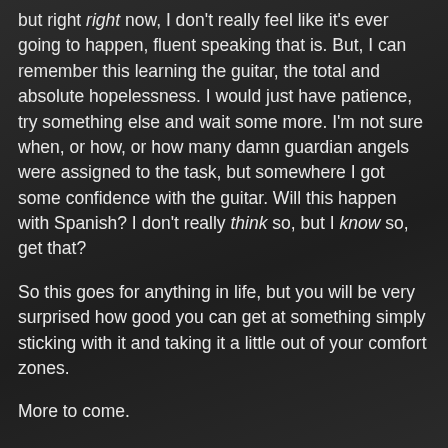but right right now, I don't really feel like it's ever going to happen, fluent speaking that is. But, I can remember this learning the guitar, the total and absolute hopelessness. I would just have patience, try something else and wait some more. I'm not sure when, or how, or how many damn guardian angels were assigned to the task, but somewhere I got some confidence with the guitar. Will this happen with Spanish? I don't really think so, but I know so, get that?
So this goes for anything in life, but you will be very surprised how good you can get at something simply sticking with it and taking it a little out of your comfort zones.
More to come.